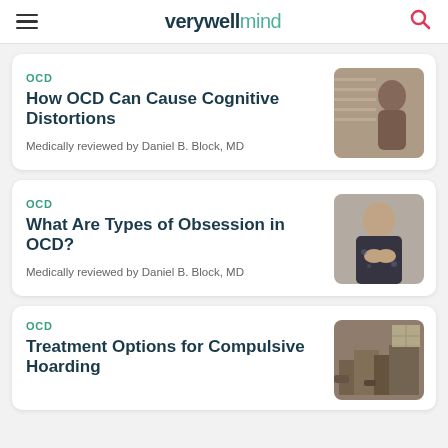verywell mind
OCD
How OCD Can Cause Cognitive Distortions
Medically reviewed by Daniel B. Block, MD
[Figure (photo): Person looking out a window, side profile]
OCD
What Are Types of Obsession in OCD?
Medically reviewed by Daniel B. Block, MD
[Figure (photo): Woman with hands clasped near her face, anxious expression]
OCD
Treatment Options for Compulsive Hoarding
[Figure (photo): Cluttered room with items piled up]